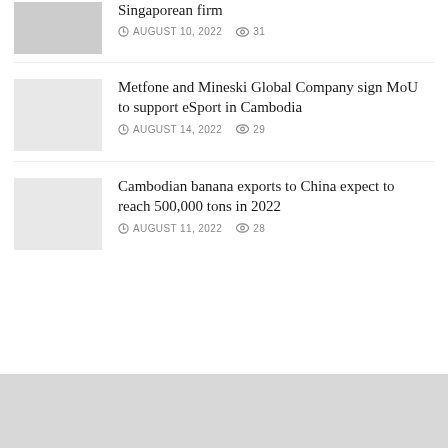[Figure (photo): Thumbnail image placeholder (gray) for Singaporean firm article]
Singaporean firm
AUGUST 10, 2022  31
[Figure (photo): Thumbnail image placeholder (gray) for Metfone and Mineski article]
Metfone and Mineski Global Company sign MoU to support eSport in Cambodia
AUGUST 14, 2022  29
[Figure (photo): Thumbnail image placeholder (gray) for Cambodian banana exports article]
Cambodian banana exports to China expect to reach 500,000 tons in 2022
AUGUST 11, 2022  28